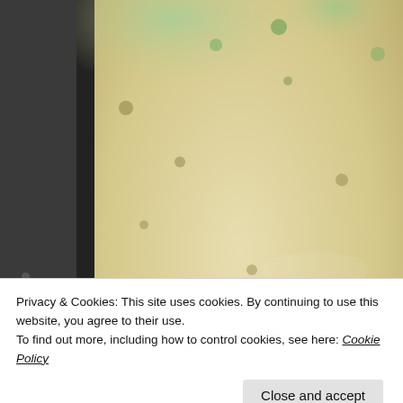[Figure (photo): Close-up photo of a sugar cookie/cake bar with green-tinted sugar crystals on top, in a dark baking pan. A watermark reading 'thepaintedapro' is visible across the middle of the image.]
Privacy & Cookies: This site uses cookies. By continuing to use this website, you agree to their use.
To find out more, including how to control cookies, see here: Cookie Policy
Close and accept